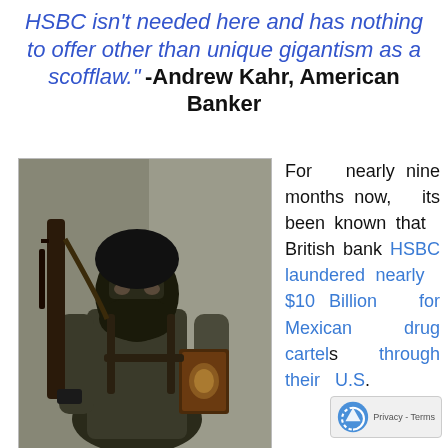HSBC isn't needed here and has nothing to offer other than unique gigantism as a scofflaw." -Andrew Kahr, American Banker
[Figure (photo): A masked armed figure dressed in black tactical gear holding a book, carrying a rifle]
Terrorist Nahr Al-Bared
For nearly nine months now, its been known that British bank HSBC laundered nearly $10 Billion for Mexican drug cartels through their U.S.